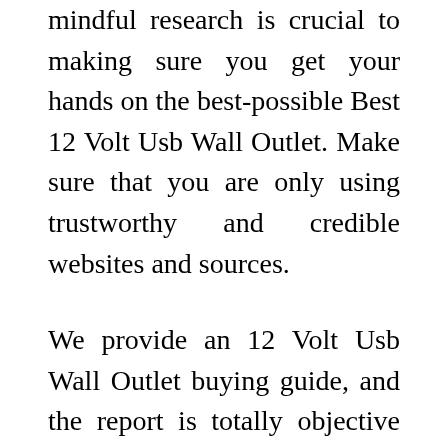mindful research is crucial to making sure you get your hands on the best-possible Best 12 Volt Usb Wall Outlet. Make sure that you are only using trustworthy and credible websites and sources.
We provide an 12 Volt Usb Wall Outlet buying guide, and the report is totally objective and authentic. We employ both AI and big data in proofreading the collected information. How did we create this buying guide? We did it using a custom-created selection of